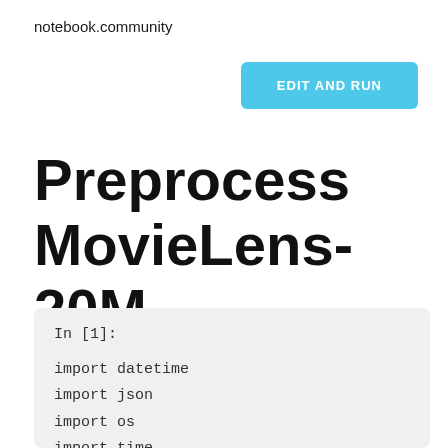notebook.community
EDIT AND RUN
Preprocess MovieLens-20M
In [1]:

import datetime
import json
import os
import time

import numpy as np